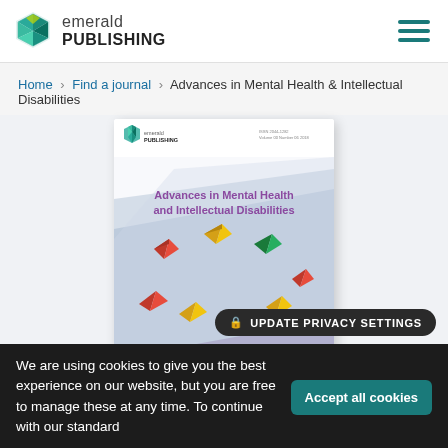emerald PUBLISHING
Home › Find a journal › Advances in Mental Health & Intellectual Disabilities
[Figure (illustration): Journal cover for 'Advances in Mental Health and Intellectual Disabilities' published by Emerald Publishing. Cover features colorful origami birds on a light blue/grey background with the Emerald Publishing logo and ISSN/volume information at the top.]
We are using cookies to give you the best experience on our website, but you are free to manage these at any time. To continue with our standard
UPDATE PRIVACY SETTINGS
Accept all cookies